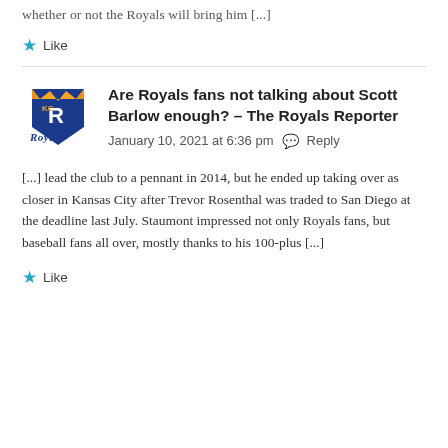whether or not the Royals will bring him [...]
★ Like
[Figure (logo): Kansas City Royals logo with crown and R, Royals script below]
Are Royals fans not talking about Scott Barlow enough? – The Royals Reporter
January 10, 2021 at 6:36 pm  Reply
[…] lead the club to a pennant in 2014, but he ended up taking over as closer in Kansas City after Trevor Rosenthal was traded to San Diego at the deadline last July. Staumont impressed not only Royals fans, but baseball fans all over, mostly thanks to his 100-plus […]
★ Like